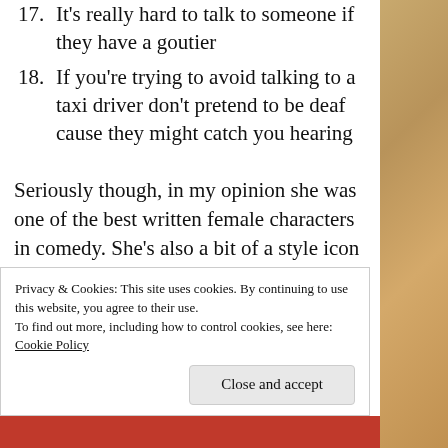17. It's really hard to talk to someone if they have a goutier
18. If you're trying to avoid talking to a taxi driver don't pretend to be deaf cause they might catch you hearing
Seriously though, in my opinion she was one of the best written female characters in comedy. She's also a bit of a style icon to me and I love how ballsy she was, how if she had an opinion she was never afraid to say it loudly, and in all honesty a small part of me was inspired to study
Privacy & Cookies: This site uses cookies. By continuing to use this website, you agree to their use. To find out more, including how to control cookies, see here: Cookie Policy
Close and accept